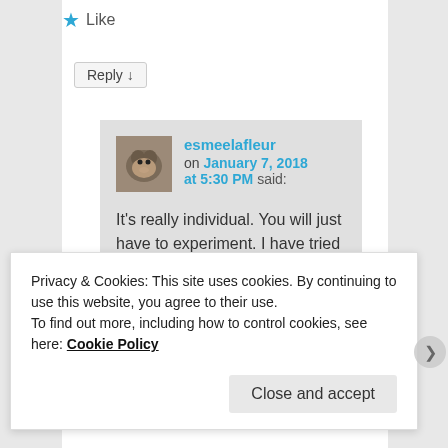★ Like
Reply ↓
esmeelafleur on January 7, 2018 at 5:30 PM said:
It's really individual. You will just have to experiment. I have tried eggs every which way and just don't feel good on them unfortunately.
Privacy & Cookies: This site uses cookies. By continuing to use this website, you agree to their use.
To find out more, including how to control cookies, see here: Cookie Policy
Close and accept